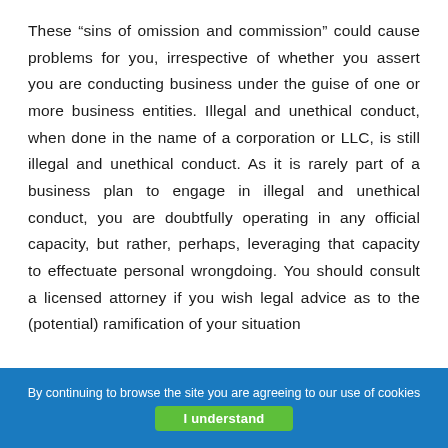These “sins of omission and commission” could cause problems for you, irrespective of whether you assert you are conducting business under the guise of one or more business entities. Illegal and unethical conduct, when done in the name of a corporation or LLC, is still illegal and unethical conduct. As it is rarely part of a business plan to engage in illegal and unethical conduct, you are doubtfully operating in any official capacity, but rather, perhaps, leveraging that capacity to effectuate personal wrongdoing. You should consult a licensed attorney if you wish legal advice as to the (potential) ramification of your situation
By continuing to browse the site you are agreeing to our use of cookies | I understand